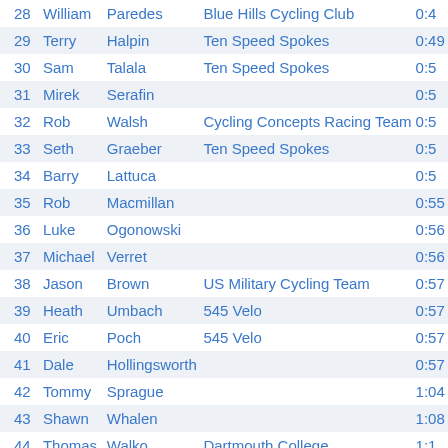| # | First | Last | Team | Time |
| --- | --- | --- | --- | --- |
| 28 | William | Paredes | Blue Hills Cycling Club | 0:4… |
| 29 | Terry | Halpin | Ten Speed Spokes | 0:49… |
| 30 | Sam | Talala | Ten Speed Spokes | 0:5… |
| 31 | Mirek | Serafin |  | 0:5… |
| 32 | Rob | Walsh | Cycling Concepts Racing Team | 0:5… |
| 33 | Seth | Graeber | Ten Speed Spokes | 0:5… |
| 34 | Barry | Lattuca |  | 0:5… |
| 35 | Rob | Macmillan |  | 0:55… |
| 36 | Luke | Ogonowski |  | 0:56… |
| 37 | Michael | Verret |  | 0:56… |
| 38 | Jason | Brown | US Military Cycling Team | 0:57… |
| 39 | Heath | Umbach | 545 Velo | 0:57… |
| 40 | Eric | Poch | 545 Velo | 0:57… |
| 41 | Dale | Hollingsworth |  | 0:57… |
| 42 | Tommy | Sprague |  | 1:04… |
| 43 | Shawn | Whalen |  | 1:08… |
| 44 | Thomas | Walko | Dartmouth College | 1:1… |